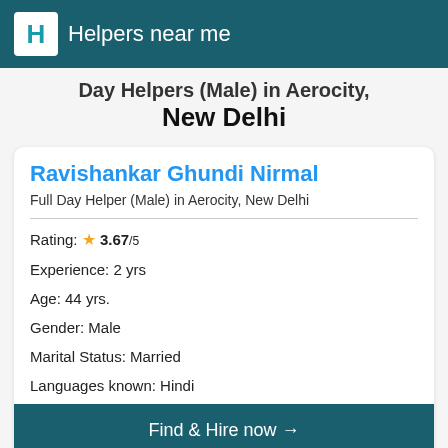Helpers near me
Day Helpers (Male) in Aerocity, New Delhi
Ravishankar Ghundi Nirmal
Full Day Helper (Male) in Aerocity, New Delhi
Rating: ★ 3.67/5
Experience: 2 yrs
Age: 44 yrs.
Gender: Male
Marital Status: Married
Languages known: Hindi
Find & Hire now →
Education: Less than 10th